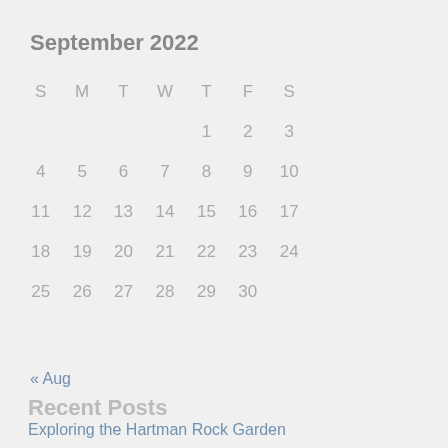September 2022
| S | M | T | W | T | F | S |
| --- | --- | --- | --- | --- | --- | --- |
|  |  |  |  | 1 | 2 | 3 |
| 4 | 5 | 6 | 7 | 8 | 9 | 10 |
| 11 | 12 | 13 | 14 | 15 | 16 | 17 |
| 18 | 19 | 20 | 21 | 22 | 23 | 24 |
| 25 | 26 | 27 | 28 | 29 | 30 |  |
« Aug
Recent Posts
Exploring the Hartman Rock Garden
Yes, You Can! – Preserving